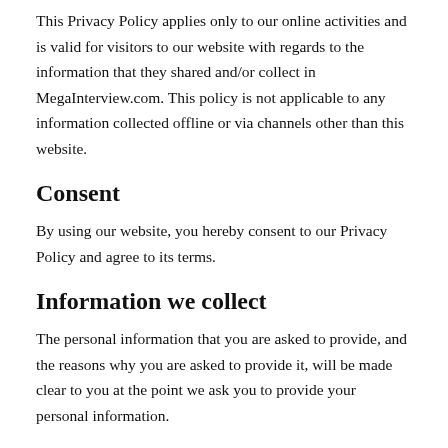This Privacy Policy applies only to our online activities and is valid for visitors to our website with regards to the information that they shared and/or collect in MegaInterview.com. This policy is not applicable to any information collected offline or via channels other than this website.
Consent
By using our website, you hereby consent to our Privacy Policy and agree to its terms.
Information we collect
The personal information that you are asked to provide, and the reasons why you are asked to provide it, will be made clear to you at the point we ask you to provide your personal information.